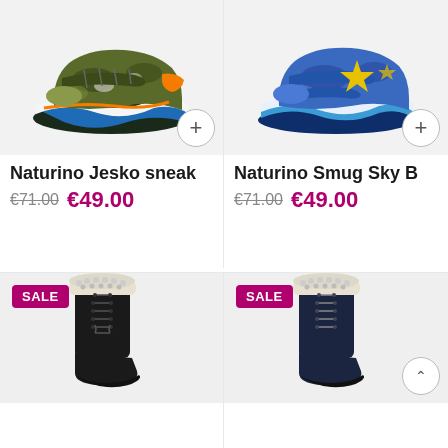[Figure (photo): Naturino Jesko sneaker, olive green/camo with orange accents and blue sole, velcro strap, shown from left side]
Naturino Jesko sneak
€71.00  €49.00
[Figure (photo): Naturino Smug Sky B sneaker, blue camo with yellow star motif, velcro straps, shown from left side]
Naturino Smug Sky B
€71.00  €49.00
[Figure (photo): Black winter boot with fur lining and laces, SALE badge in top left corner]
[Figure (photo): Dark navy/black winter boot with fur lining and laces, SALE badge in top left corner]